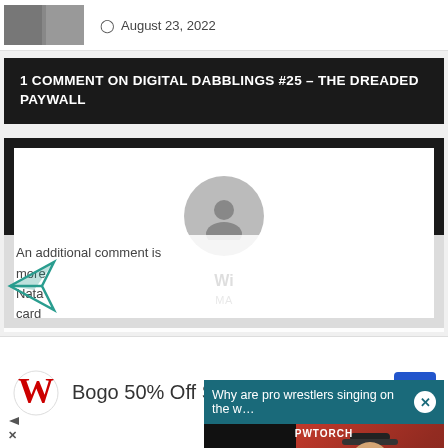August 23, 2022
1 COMMENT ON DIGITAL DABBLINGS #25 – THE DREADED PAYWALL
[Figure (screenshot): Comment card showing anonymous user avatar (gray silhouette), partially visible username starting with 'Wi' and meta info starting with 'MA', overlaid by a video popup. The popup titled 'Why are pro wrestlers singing on the w…' with a close X button. Below the popup header is a video player labeled PWTORCH showing a mute button (orange circle with mute icon) and a video of a man in a black cap against a wrestling ring background. A close circle button appears bottom right of video.]
An additional comment is visible below, partially obscured, mentioning 'more', 'Nata…', 'card…'
[Figure (other): Feather/vector ad icon in teal/green at bottom left]
Bogo 50% Off Select Sun Care
[Figure (logo): Walgreens red cursive W logo]